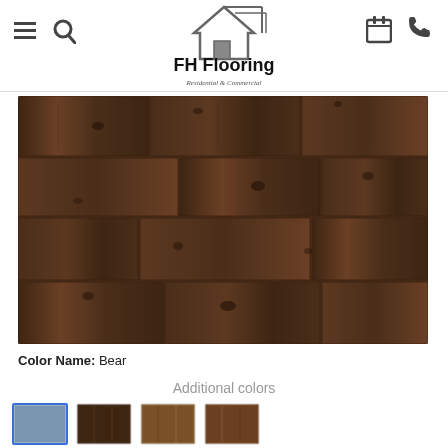[Figure (logo): FH Flooring logo with house icon and text 'FH Flooring Residential & Commercial']
[Figure (photo): Close-up photo of dark brown wood flooring planks in Bear color]
Color Name: Bear
Additional colors
[Figure (photo): Four color swatch thumbnails for additional flooring color options]